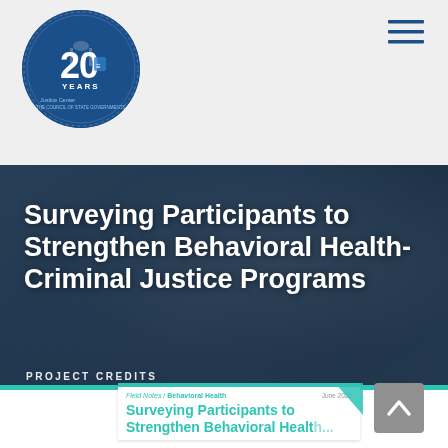Justice Center — 20 Years
[Figure (logo): Circular blue logo with '20 YEARS' and 'Justice Center' text with Capitol building icon]
[Figure (illustration): Hamburger menu icon in navy blue]
Surveying Participants to Strengthen Behavioral Health-Criminal Justice Programs
PROJECT CREDITS
[Figure (screenshot): Preview card showing Field Notes / Behavioral Health, June 2021, with title 'Surveying Participants to Strengthen Behavioral Health...' in teal on white background with teal top bar]
[Figure (illustration): Scroll-to-top button with upward chevron on grey background]